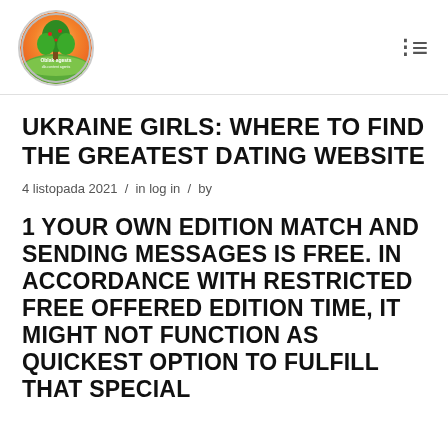[Figure (logo): Circular logo with a tree and landscape scene, colorful gradient background with text 'Oblak agsets' or similar]
UKRAINE GIRLS: WHERE TO FIND THE GREATEST DATING WEBSITE
4 listopada 2021 / in log in / by
1 YOUR OWN EDITION MATCH AND SENDING MESSAGES IS FREE. IN ACCORDANCE WITH RESTRICTED FREE OFFERED EDITION TIME, IT MIGHT NOT FUNCTION AS QUICKEST OPTION TO FULFILL THAT SPECIAL